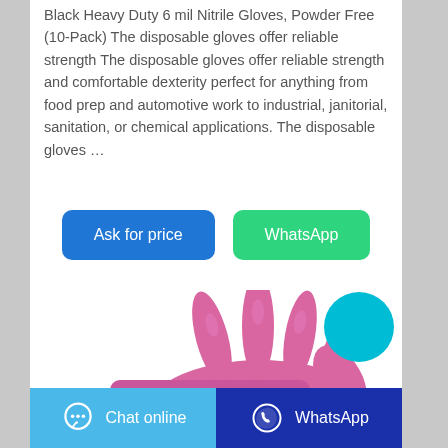Black Heavy Duty 6 mil Nitrile Gloves, Powder Free (10-Pack) The disposable gloves offer reliable strength The disposable gloves offer reliable strength and comfortable dexterity perfect for anything from food prep and automotive work to industrial, janitorial, sanitation, or chemical applications. The disposable gloves …
Ask for price
WhatsApp
[Figure (photo): Pink nitrile glove on a hand, shown from above against white background]
[Figure (other): Cyan circular button/icon in upper right area]
Chat online   WhatsApp